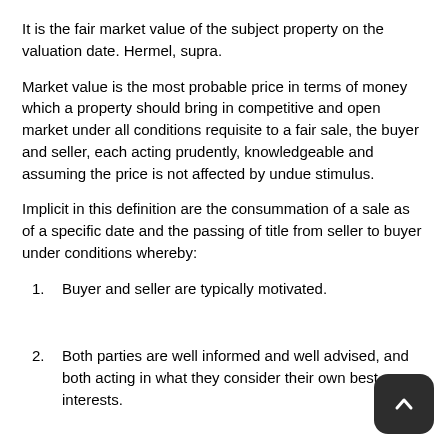It is the fair market value of the subject property on the valuation date. Hermel, supra.
Market value is the most probable price in terms of money which a property should bring in competitive and open market under all conditions requisite to a fair sale, the buyer and seller, each acting prudently, knowledgeable and assuming the price is not affected by undue stimulus.
Implicit in this definition are the consummation of a sale as of a specific date and the passing of title from seller to buyer under conditions whereby:
Buyer and seller are typically motivated.
Both parties are well informed and well advised, and both acting in what they consider their own best interests.